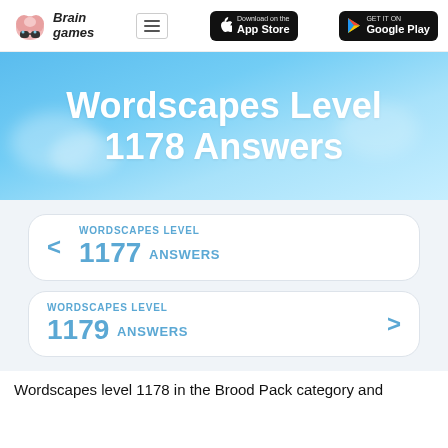Brain Games - Navigation header with logo, hamburger menu, App Store and Google Play badges
Wordscapes Level 1178 Answers
< WORDSCAPES LEVEL 1177 ANSWERS
WORDSCAPES LEVEL 1179 ANSWERS >
Wordscapes level 1178 in the Brood Pack category and